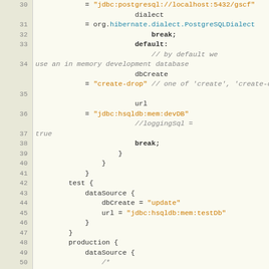[Figure (screenshot): Source code listing showing Grails/Groovy configuration file with line numbers 30-53, including database configuration for development and production environments with HSQLDB and PostgreSQL settings.]